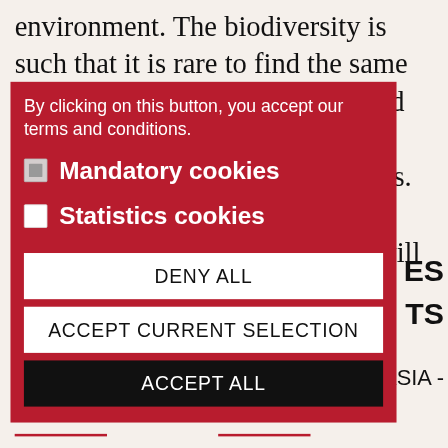environment. The biodiversity is such that it is rare to find the same species of tree less than a hundred metres apart. The same is true of the plants and most of the animals. If you listen carefully at various times of the day and night, you will hear the amazing choir of...
By clicking on this button, you accept our terms and conditions.
Mandatory cookies (checked)
Statistics cookies (unchecked)
DENY ALL
ACCEPT CURRENT SELECTION
ACCEPT ALL